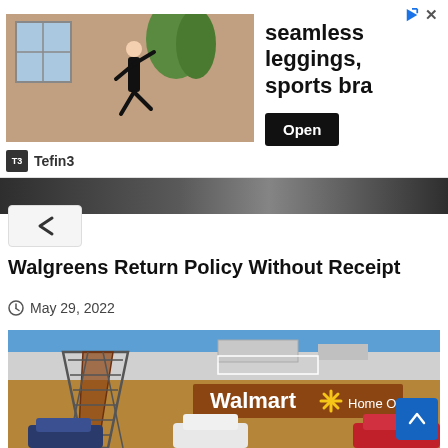[Figure (screenshot): Advertisement banner for seamless leggings and sports bra by Tefin3 with an Open button]
[Figure (screenshot): Navigation bar strip with partial news header visible]
[Figure (screenshot): Back/chevron navigation button]
Walgreens Return Policy Without Receipt
May 29, 2022
[Figure (photo): Walmart Home Office building exterior with parking lot, cars, and a large metal sculpture in front under a blue sky]